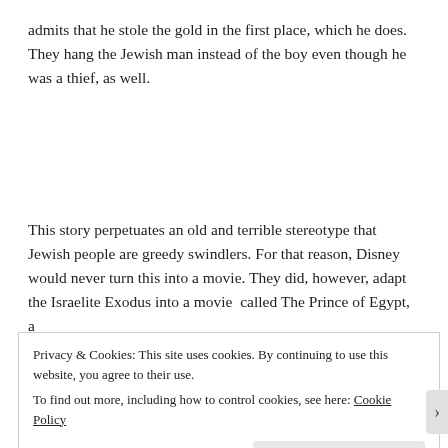admits that he stole the gold in the first place, which he does. They hang the Jewish man instead of the boy even though he was a thief, as well.
This story perpetuates an old and terrible stereotype that Jewish people are greedy swindlers. For that reason, Disney would never turn this into a movie. They did, however, adapt the Israelite Exodus into a movie  called The Prince of Egypt, a
Privacy & Cookies: This site uses cookies. By continuing to use this website, you agree to their use.
To find out more, including how to control cookies, see here: Cookie Policy
Close and accept
REPORT THIS AD